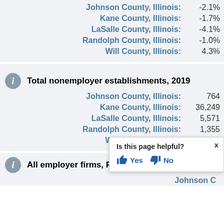Johnson County, Illinois: -2.1%
Kane County, Illinois: -1.7%
LaSalle County, Illinois: -4.1%
Randolph County, Illinois: -1.0%
Will County, Illinois: 4.3%
Total nonemployer establishments, 2019
Johnson County, Illinois: 764
Kane County, Illinois: 36,249
LaSalle County, Illinois: 5,571
Randolph County, Illinois: 1,355
Will County, Illinois: 51,484
All employer firms, Reference
Johnson C[ounty, Illinois: ...]